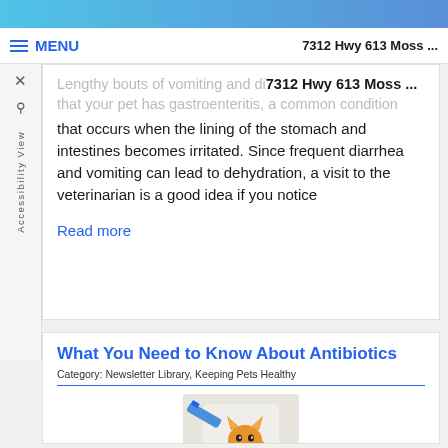7312 Hwy 613  Moss ...
Lengthy bouts of vomiting and diarrhea may indicate that your pet has gastroenteritis, a common condition that occurs when the lining of the stomach and intestines becomes irritated. Since frequent diarrhea and vomiting can lead to dehydration, a visit to the veterinarian is a good idea if you notice
Read more
What You Need to Know About Antibiotics
Category: Newsletter Library, Keeping Pets Healthy
[Figure (photo): Orange tabby kitten sitting up, being administered medication with a blue syringe by a person in a white coat]